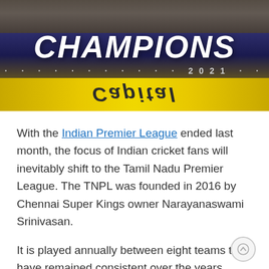[Figure (photo): A banner photo showing a cricket team celebration with the word CHAMPIONS in large white text, '2021' below it with dotted lines, and 'Capital' written in yellow below, all on a dark blue/purple background.]
With the Indian Premier League ended last month, the focus of Indian cricket fans will inevitably shift to the Tamil Nadu Premier League. The TNPL was founded in 2016 by Chennai Super Kings owner Narayanaswami Srinivasan.
It is played annually between eight teams that have remained consistent over the years despite some name changes. The tournament was canceled in 2020 due to the Covid-19 pandemic.
It returned with a vengeance a year later and is